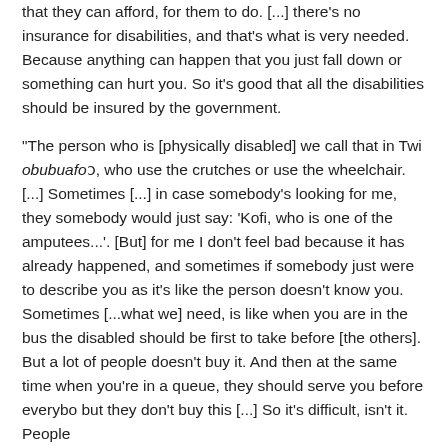that they can afford, for them to do. [...] there's no insurance for disabilities, and that's what is very needed. Because anything can happen that you just fall down or something can hurt you. So it's good that all the disabilities should be insured by the government.
"The person who is [physically disabled] we call that in Twi obubuafoɔ, who use the crutches or use the wheelchair. [...] Sometimes [...] in case somebody's looking for me, they somebody would just say: 'Kofi, who is one of the amputees...'. [But] for me I don't feel bad because it has already happened, and sometimes if somebody just were to describe you as it's like the person doesn't know you. Sometimes [...what we] need, is like when you are in the bus the disabled should be first to take before [the others]. But a lot of people doesn't buy it. And then at the same time when you're in a queue, they should serve you before everybo but they don't buy this [...] So it's difficult, isn't it. People